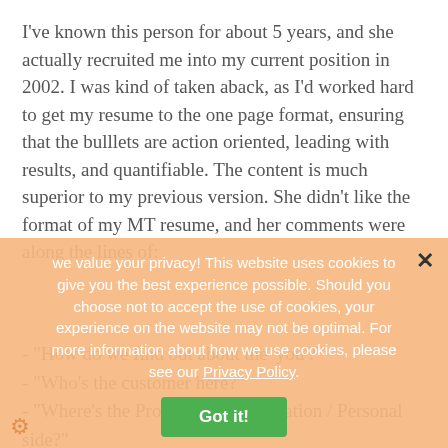I've known this person for about 5 years, and she actually recruited me into my current position in 2002. I was kind of taken aback, as I'd worked hard to get my resume to the one page format, ensuring that the bulllets are action oriented, leading with results, and quantifiable. The content is much superior to my previous version. She didn't like the format of my MT resume, and her comments were along the lines of:
- "How do we find out about the 'you'?"
- "Who's the customer here?"
- "Where's the Professional Association / Personal side?"
- "Looks like you didn't take the time to worry about your presentation"
She also mentioned that my potential boss wasn't that enamoured with the format, which concerned me somewhat too.